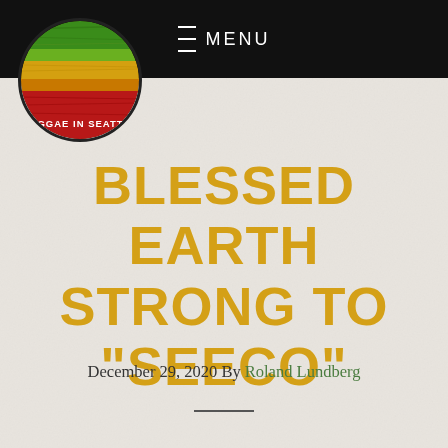REGGAE IN SEATTLE  ≡ MENU
[Figure (logo): Circular logo with horizontal color stripes (green, yellow, red) resembling wood grain, with text 'REGGAE IN SEATTLE' in white on lower portion]
BLESSED EARTH STRONG TO "SEECO"
December 29, 2020 By Roland Lundberg